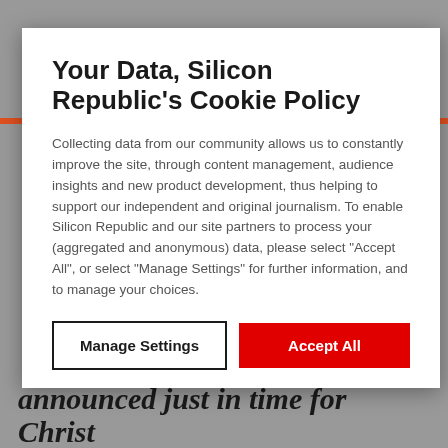Your Data, Silicon Republic's Cookie Policy
Collecting data from our community allows us to constantly improve the site, through content management, audience insights and new product development, thus helping to support our independent and original journalism. To enable Silicon Republic and our site partners to process your (aggregated and anonymous) data, please select "Accept All", or select "Manage Settings" for further information, and to manage your choices.
Manage Settings
Accept All
announced just in time for Christ...